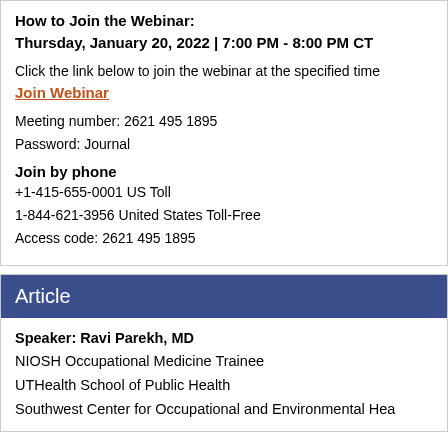How to Join the Webinar:
Thursday, January 20, 2022 | 7:00 PM - 8:00 PM CT
Click the link below to join the webinar at the specified time
Join Webinar
Meeting number: 2621 495 1895
Password: Journal
Join by phone
+1-415-655-0001 US Toll
1-844-621-3956 United States Toll-Free
Access code: 2621 495 1895
Article
Speaker: Ravi Parekh, MD
NIOSH Occupational Medicine Trainee
UTHealth School of Public Health
Southwest Center for Occupational and Environmental Hea